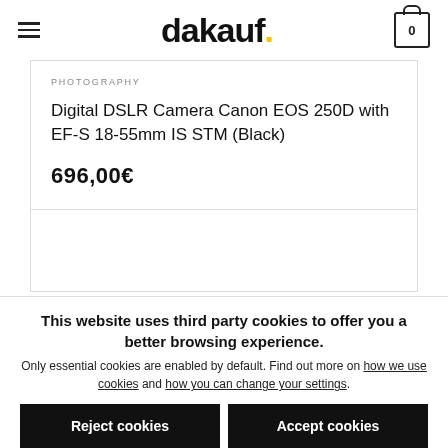dakauf.
PHOTOGRAPHY
Digital DSLR Camera Canon EOS 250D with EF-S 18-55mm IS STM (Black)
696,00€
This website uses third party cookies to offer you a better browsing experience. Only essential cookies are enabled by default. Find out more on how we use cookies and how you can change your settings.